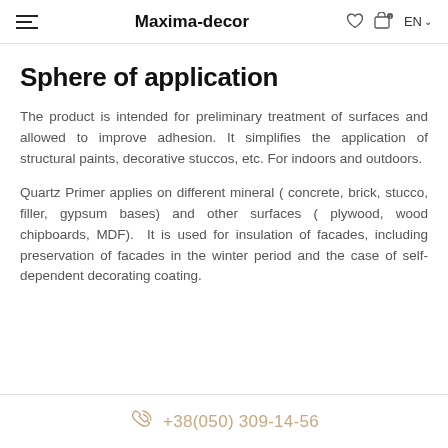Maxima-decor
Sphere of application
The product is intended for preliminary treatment of surfaces and allowed to improve adhesion. It simplifies the application of structural paints, decorative stuccos, etc. For indoors and outdoors.
Quartz Primer applies on different mineral ( concrete, brick, stucco, filler, gypsum bases) and other surfaces ( plywood, wood chipboards, MDF).  It is used for insulation of facades, including preservation of facades in the winter period and the case of self-dependent decorating coating.
+38(050) 309-14-56